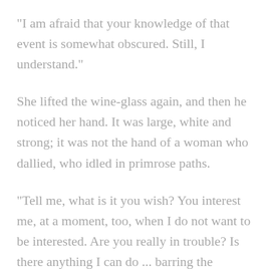"I am afraid that your knowledge of that event is somewhat obscured. Still, I understand."
She lifted the wine-glass again, and then he noticed her hand. It was large, white and strong; it was not the hand of a woman who dallied, who idled in primrose paths.
"Tell me, what is it you wish? You interest me, at a moment, too, when I do not want to be interested. Are you really in trouble? Is there anything I can do ... barring the taxicab?"